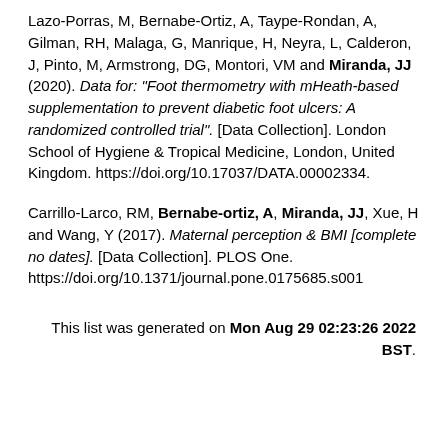Lazo-Porras, M, Bernabe-Ortiz, A, Taype-Rondan, A, Gilman, RH, Malaga, G, Manrique, H, Neyra, L, Calderon, J, Pinto, M, Armstrong, DG, Montori, VM and Miranda, JJ (2020). Data for: "Foot thermometry with mHeath-based supplementation to prevent diabetic foot ulcers: A randomized controlled trial". [Data Collection]. London School of Hygiene & Tropical Medicine, London, United Kingdom. https://doi.org/10.17037/DATA.00002334.
Carrillo-Larco, RM, Bernabe-ortiz, A, Miranda, JJ, Xue, H and Wang, Y (2017). Maternal perception & BMI [complete no dates]. [Data Collection]. PLOS One. https://doi.org/10.1371/journal.pone.0175685.s001
This list was generated on Mon Aug 29 02:23:26 2022 BST.